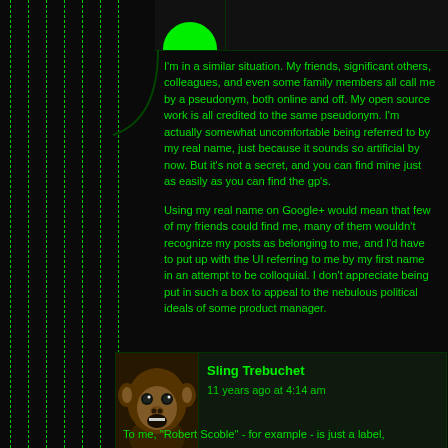I'm in a similar situation. My friends, significant others, colleagues, and even some family members all call me by a pseudonym, both online and off. My open source work is all credited to the same pseudonym. I'm actually somewhat uncomfortable being referred to by my real name, just because it sounds so artificial by now. But it's not a secret, and you can find mine just as easily as you can find the gp's.
Using my real name on Google+ would mean that few of my friends could find me, many of them wouldn't recognize my posts as belonging to me, and I'd have to put up with the UI referring to me by my first name in an attempt to be colloquial. I don't appreciate being put in such a box to appeal to the nebulous political ideals of some product manager.
Sling Trebuchet
11 years ago at 4:14 am
To me, "Robert Scoble" - for example - is just a label,